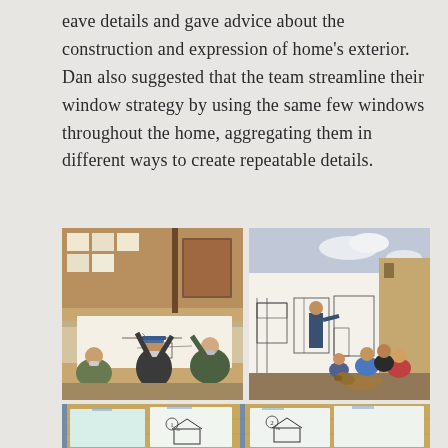eave details and gave advice about the construction and expression of home's exterior. Dan also suggested that the team streamline their window strategy by using the same few windows throughout the home, aggregating them in different ways to create repeatable details.
[Figure (photo): Left photo: Three students wearing masks working around a large paper on a table in an architecture studio, drawing and sketching. Background shows pinned drawings on walls. Right photo: Group of people working on a large full-scale drawing on a long white paper pinned to an exterior wall, with a dog sitting nearby.]
[Figure (photo): Bottom photo (partial): Architectural drawings and sketches pinned to a board with blue tape, showing house section details labeled with circled numbers 1 and 2.]